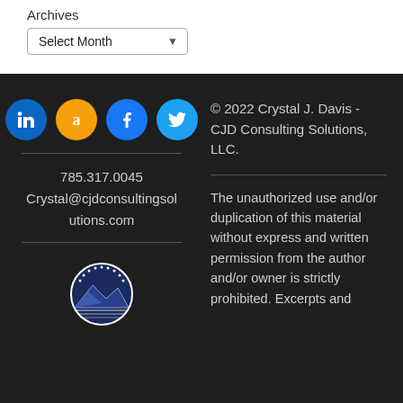Archives
Select Month
[Figure (illustration): Social media icons: LinkedIn (blue circle), Amazon (orange circle), Facebook (blue circle), Twitter (light blue circle)]
785.317.0045
Crystal@cjdconsultingsolutions.com
[Figure (logo): CJD Consulting Solutions logo - circular emblem with mountains and sun rays, dark blue and white colors]
© 2022 Crystal J. Davis - CJD Consulting Solutions, LLC.
The unauthorized use and/or duplication of this material without express and written permission from the author and/or owner is strictly prohibited. Excerpts and...